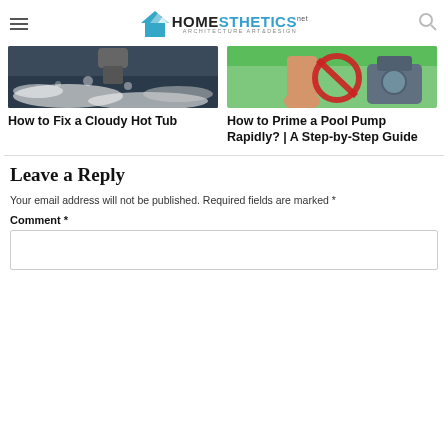Homesthetics - Architecture Art & Design
[Figure (photo): Photo of a cloudy hot tub with bubbling white water]
[Figure (illustration): Illustration of a pool pump with a hand and a no symbol on a green background]
How to Fix a Cloudy Hot Tub
How to Prime a Pool Pump Rapidly? | A Step-by-Step Guide
Leave a Reply
Your email address will not be published. Required fields are marked *
Comment *